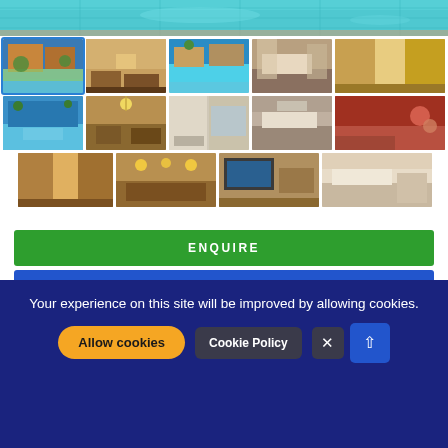[Figure (photo): Top banner: swimming pool aerial view, turquoise water]
[Figure (photo): Gallery row 1, image 1 (selected): villa exterior with pool]
[Figure (photo): Gallery row 1, image 2: interior living room]
[Figure (photo): Gallery row 1, image 3: exterior pool view]
[Figure (photo): Gallery row 1, image 4: bedroom interior]
[Figure (photo): Gallery row 1, image 5: hallway/corridor]
[Figure (photo): Gallery row 2, image 1: exterior pool reflection]
[Figure (photo): Gallery row 2, image 2: living room with chandelier]
[Figure (photo): Gallery row 2, image 3: bathroom/shower]
[Figure (photo): Gallery row 2, image 4: bedroom]
[Figure (photo): Gallery row 2, image 5: terrace/outdoor dining]
[Figure (photo): Gallery row 3, image 1: interior corridor]
[Figure (photo): Gallery row 3, image 2: dining/living room]
[Figure (photo): Gallery row 3, image 3: living room with TV]
[Figure (photo): Gallery row 3, image 4: bedroom]
ENQUIRE
Your experience on this site will be improved by allowing cookies.
Cookie Policy
Allow cookies